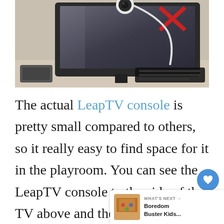[Figure (photo): Photo of a computer monitor with a webcam attached on top and a keyboard to the right, sitting on a desk. A small gaming console is visible to the side of the TV.]
The actual LeapTV console is pretty small compared to others, so it really easy to find space for it in the playroom. You can see the LeapTV console to the side of the TV above and the LeapTV ca... front of the TV. This is used for